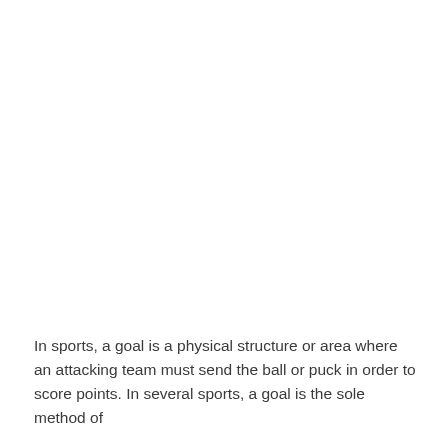In sports, a goal is a physical structure or area where an attacking team must send the ball or puck in order to score points. In several sports, a goal is the sole method of scoring points.